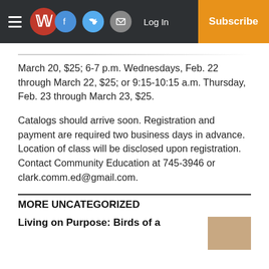W [newspaper logo] | Facebook | Twitter | Email | Log In | Subscribe
March 20, $25; 6-7 p.m. Wednesdays, Feb. 22 through March 22, $25; or 9:15-10:15 a.m. Thursday, Feb. 23 through March 23, $25.
Catalogs should arrive soon. Registration and payment are required two business days in advance. Location of class will be disclosed upon registration. Contact Community Education at 745-3946 or clark.comm.ed@gmail.com.
MORE UNCATEGORIZED
Living on Purpose: Birds of a